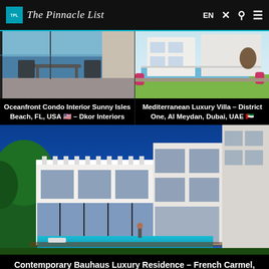The Pinnacle List — EN navigation bar
[Figure (photo): Oceanfront condo interior with dining area and ocean view, Sunny Isles Beach, FL]
Oceanfront Condo Interior Sunny Isles Beach, FL, USA 🇺🇸 – Dkor Interiors
[Figure (photo): Mediterranean luxury villa with pool and garden terrace, District One, Al Meydan, Dubai, UAE]
Mediterranean Luxury Villa – District One, Al Meydan, Dubai, UAE 🇦🇪
[Figure (photo): Contemporary Bauhaus luxury residence exterior with pool and pergola, French Carmel]
Contemporary Bauhaus Luxury Residence – French Carmel,